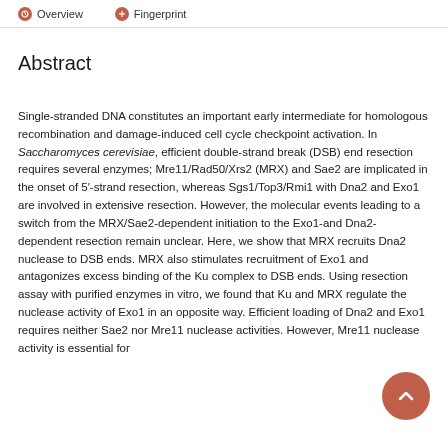Overview  Fingerprint
Abstract
Single-stranded DNA constitutes an important early intermediate for homologous recombination and damage-induced cell cycle checkpoint activation. In Saccharomyces cerevisiae, efficient double-strand break (DSB) end resection requires several enzymes; Mre11/Rad50/Xrs2 (MRX) and Sae2 are implicated in the onset of 5'-strand resection, whereas Sgs1/Top3/Rmi1 with Dna2 and Exo1 are involved in extensive resection. However, the molecular events leading to a switch from the MRX/Sae2-dependent initiation to the Exo1-and Dna2-dependent resection remain unclear. Here, we show that MRX recruits Dna2 nuclease to DSB ends. MRX also stimulates recruitment of Exo1 and antagonizes excess binding of the Ku complex to DSB ends. Using resection assay with purified enzymes in vitro, we found that Ku and MRX regulate the nuclease activity of Exo1 in an opposite way. Efficient loading of Dna2 and Exo1 requires neither Sae2 nor Mre11 nuclease activities. However, Mre11 nuclease activity is essential for